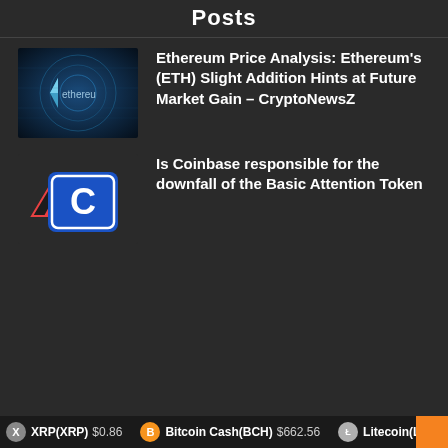Posts
[Figure (photo): Ethereum logo image with blue digital background and 'ethereum' text]
Ethereum Price Analysis: Ethereum's (ETH) Slight Addition Hints at Future Market Gain – CryptoNewsZ
[Figure (logo): Coinbase logo - blue square with white C and Ark logo overlay]
Is Coinbase responsible for the downfall of the Basic Attention Token
XRP(XRP) $0.86   Bitcoin Cash(BCH) $662.56   Litecoin(LTC